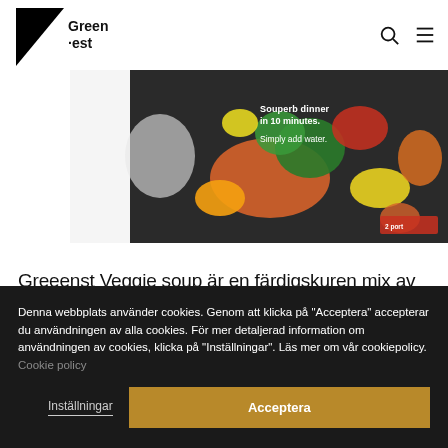Greenest — navigation header with logo, search icon, and menu icon
[Figure (photo): Product photo of Greenest Veggie soup package with colorful vegetables — broccoli, carrots, corn — on a dark background with text 'Souperb dinner in 10 minutes. Simply add water. 2 port']
Greeenst Veggie soup är en färdigskuren mix av grönsaker och kål. Tillsätt bara vatten och buljongen som följer med i
Denna webbplats använder cookies. Genom att klicka på "Acceptera" accepterar du användningen av alla cookies. För mer detaljerad information om användningen av cookies, klicka på "Inställningar". Läs mer om vår cookiepolicy. Cookie policy
Inställningar
Acceptera